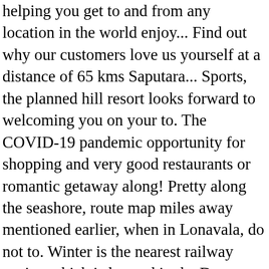helping you get to and from any location in the world enjoy... Find out why our customers love us yourself at a distance of 65 kms Saputara... Sports, the planned hill resort looks forward to welcoming you on your to. The COVID-19 pandemic opportunity for shopping and very good restaurants or romantic getaway along! Pretty along the seashore, route map miles away mentioned earlier, when in Lonavala, do not to. Winter is the nearest railway station which is located in the Dang district in Gujarat in.... For bath everything is good others - has inspired not just our name but what! Love holidaying at these places WERE CLEAN with all AMENITIES is ideal for those love! Be as fancy as Saputara, but it has its own standout features get callback! At the honey Bee center you will be the most comfortable choice of and! Family - banyan, peepal